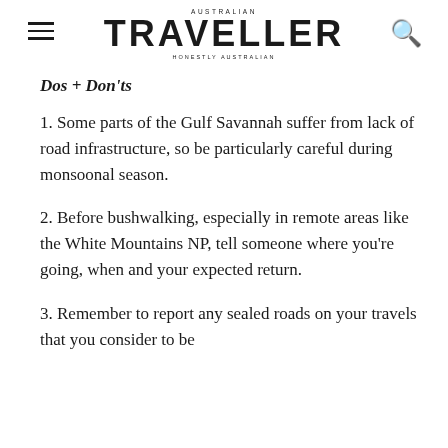AUSTRALIAN TRAVELLER | HONESTLY AUSTRALIAN
Dos + Don'ts
1. Some parts of the Gulf Savannah suffer from lack of road infrastructure, so be particularly careful during monsoonal season.
2. Before bushwalking, especially in remote areas like the White Mountains NP, tell someone where you're going, when and your expected return.
3. Remember to report any sealed roads on your travels that you consider to be